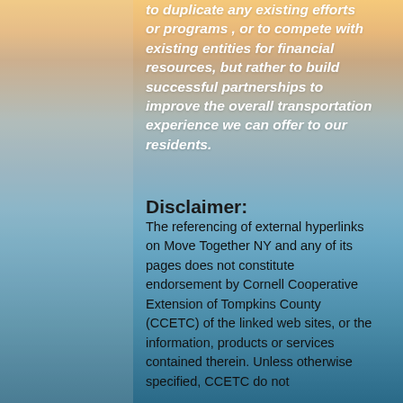to duplicate any existing efforts or programs, or to compete with existing entities for financial resources, but rather to build successful partnerships to improve the overall transportation experience we can offer to our residents.
Disclaimer:
The referencing of external hyperlinks on Move Together NY and any of its pages does not constitute endorsement by Cornell Cooperative Extension of Tompkins County (CCETC) of the linked web sites, or the information, products or services contained therein. Unless otherwise specified, CCETC do not